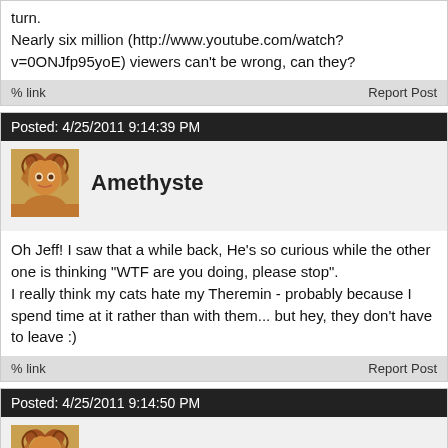turn.
Nearly six million (http://www.youtube.com/watch?v=0ONJfp95yoE) viewers can't be wrong, can they?
% link    Report Post
Posted: 4/25/2011 9:14:39 PM
Amethyste
Oh Jeff! I saw that a while back, He's so curious while the other one is thinking "WTF are you doing, please stop".
I really think my cats hate my Theremin - probably because I spend time at it rather than with them... but hey, they don't have to leave :)
% link    Report Post
Posted: 4/25/2011 9:14:50 PM
Amethyste
Actually I picked up my cat and brought it close to it and almost